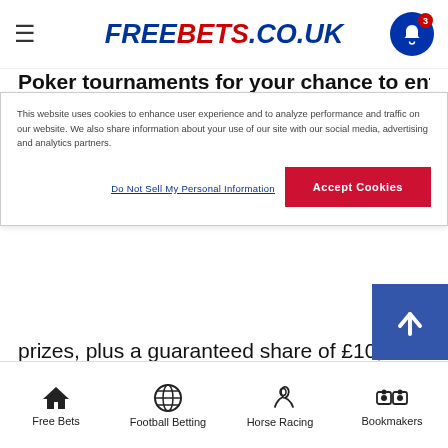FREEBETS.CO.UK
Poker tournaments for your chance to enter our
This website uses cookies to enhance user experience and to analyze performance and traffic on our website. We also share information about your use of our site with our social media, advertising and analytics partners.
Do Not Sell My Personal Information
Accept Cookies
prizes, plus a guaranteed share of £10,000. Opt in required.
Poker Cashback Tuesdays: Hit the Poker tables every Tuesday and Virgin Online Casino will give you 10% Cashback on your losses over £10, or a £1 "Wild Seat" ticket on your losses under £10.
Free Bets  Football Betting  Horse Racing  Bookmakers